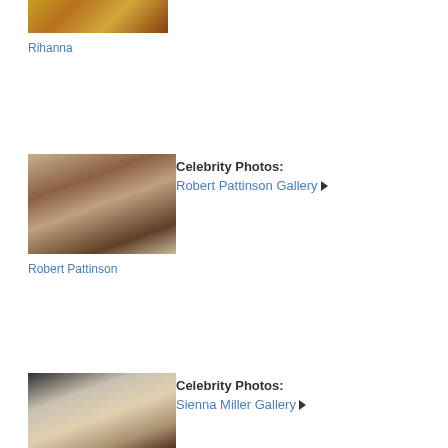[Figure (photo): Partial cropped photo of Rihanna at top of page]
Rihanna
[Figure (photo): Photo of Robert Pattinson in burgundy jacket]
Celebrity Photos:
Robert Pattinson Gallery ▶
Robert Pattinson
[Figure (photo): Partial photo of Sienna Miller smiling, blonde hair]
Celebrity Photos:
Sienna Miller Gallery ▶